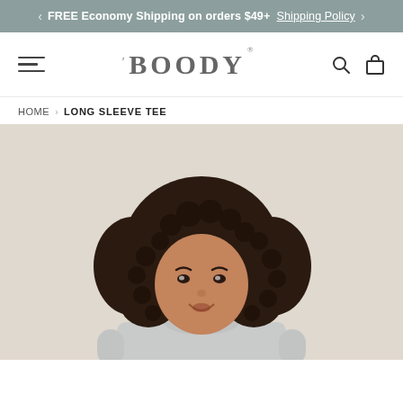FREE Economy Shipping on orders $49+  Shipping Policy
BOODY — Navigation bar with hamburger menu, search, and bag icons
HOME › LONG SLEEVE TEE
[Figure (photo): Product photo of a woman with curly hair wearing a light grey long sleeve tee, photographed against a warm beige background. The photo shows her from the waist up, smiling slightly upward.]